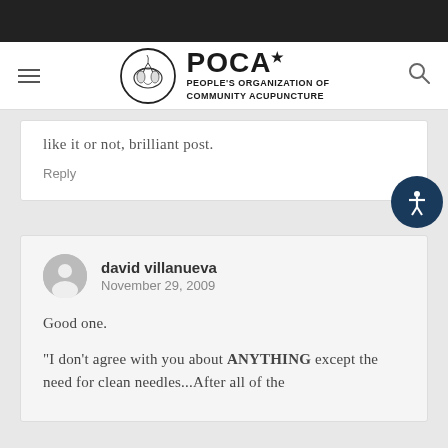[Figure (logo): POCA - People's Organization of Community Acupuncture logo with circular emblem]
like it or not, brilliant post.
Reply
david villanueva
November 29, 2009
Good one.
“I don’t agree with you about ANYTHING except the need for clean needles...After all of the